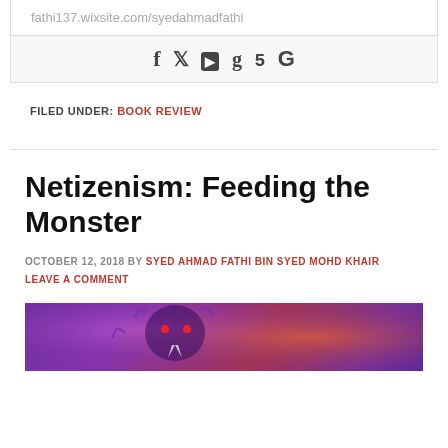fathi137.wixsite.com/syedahmadfathi
[Figure (infographic): Row of social media icons: Facebook (f), Twitter (bird), YouTube (play button), Goodreads (g), 500px (5), Google (G)]
FILED UNDER: BOOK REVIEW
Netizenism: Feeding the Monster
OCTOBER 12, 2018 BY SYED AHMAD FATHI BIN SYED MOHD KHAIR — LEAVE A COMMENT
[Figure (illustration): Partial illustration showing a fantasy monster/werewolf with red eyes against purple and orange glowing background]